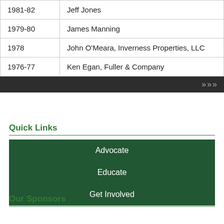| Year | Name |
| --- | --- |
| 1981-82 | Jeff Jones |
| 1979-80 | James Manning |
| 1978 | John O'Meara, Inverness Properties, LLC |
| 1976-77 | Ken Egan, Fuller & Company |
Quick Links
Advocate
Educate
Get Involved
Our Sponsors